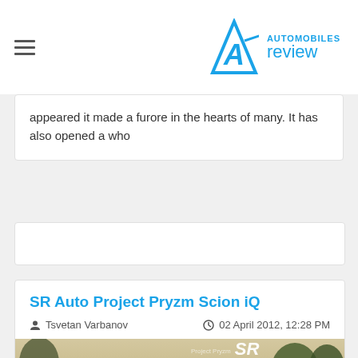Automobiles Review
appeared it made a furore in the hearts of many. It has also opened a who
SR Auto Project Pryzm Scion iQ
Tsvetan Varbanov   02 April 2012, 12:28 PM
[Figure (photo): Red/orange Scion iQ with SR Auto Project Pryzm branding, photographed outdoors with trees in the background]